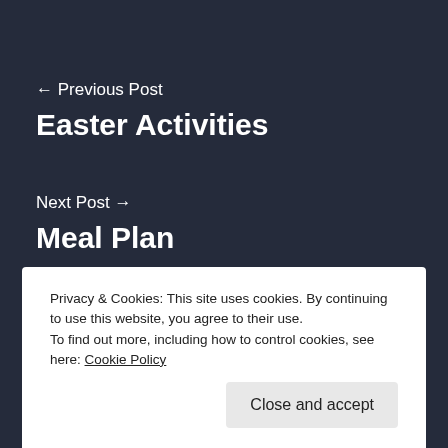← Previous Post
Easter Activities
Next Post →
Meal Plan
Privacy & Cookies: This site uses cookies. By continuing to use this website, you agree to their use.
To find out more, including how to control cookies, see here: Cookie Policy
Close and accept